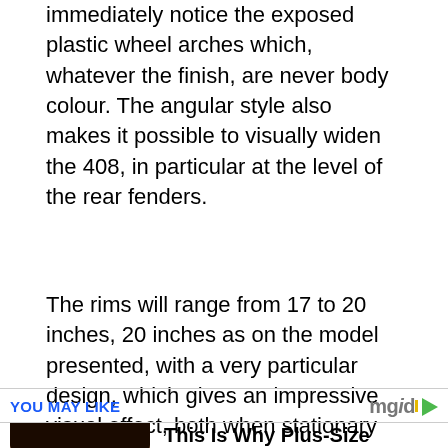immediately notice the exposed plastic wheel arches which, whatever the finish, are never body colour. The angular style also makes it possible to visually widen the 408, in particular at the level of the rear fenders.
The rims will range from 17 to 20 inches, 20 inches as on the model presented, with a very particular design, which gives an impressive visual effect, both when stationary and when driving.
YOU MAY LIKE
[Figure (photo): Partial photo of a person's face with dark hair, visible from roughly chin to forehead, used as thumbnail for an article.]
This Is Why Plus-Size Models Should Always